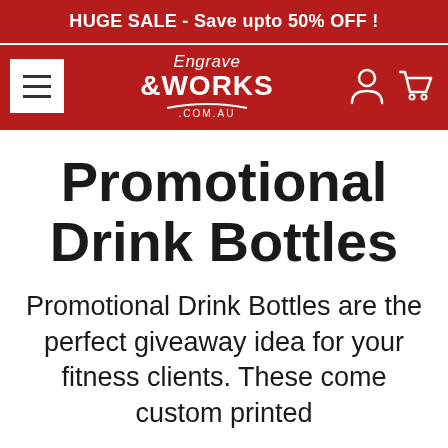HUGE SALE - Save upto 50% OFF !
[Figure (logo): EngraveWorks.com.au logo with hamburger menu, user and cart icons on dark red navigation bar]
Promotional Drink Bottles
Promotional Drink Bottles are the perfect giveaway idea for your fitness clients. These come custom printed